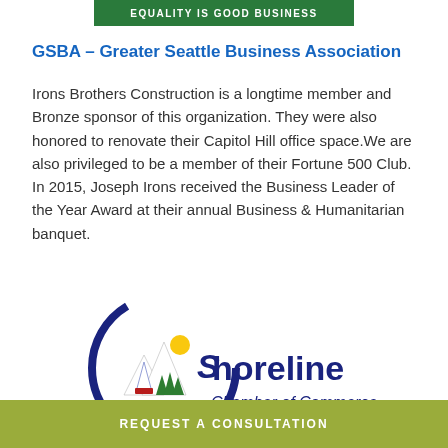[Figure (logo): Green banner with white bold text: EQUALITY IS GOOD BUSINESS]
GSBA – Greater Seattle Business Association
Irons Brothers Construction is a longtime member and Bronze sponsor of this organization. They were also honored to renovate their Capitol Hill office space.We are also privileged to be a member of their Fortune 500 Club. In 2015, Joseph Irons received the Business Leader of the Year Award at their annual Business & Humanitarian banquet.
[Figure (logo): Shoreline Chamber of Commerce logo with circular design showing mountains, sailboat, sun and trees, with blue text reading 'Shoreline Chamber of Commerce']
REQUEST A CONSULTATION